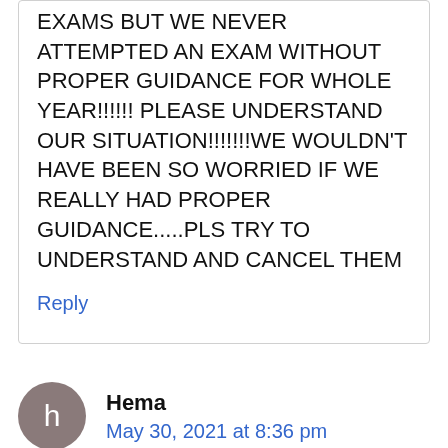EXAMS BUT WE NEVER ATTEMPTED AN EXAM WITHOUT PROPER GUIDANCE FOR WHOLE YEAR!!!!!! PLEASE UNDERSTAND OUR SITUATION!!!!!!!WE WOULDN'T HAVE BEEN SO WORRIED IF WE REALLY HAD PROPER GUIDANCE.....PLS TRY TO UNDERSTAND AND CANCEL THEM
Reply
Hema
May 30, 2021 at 8:36 pm